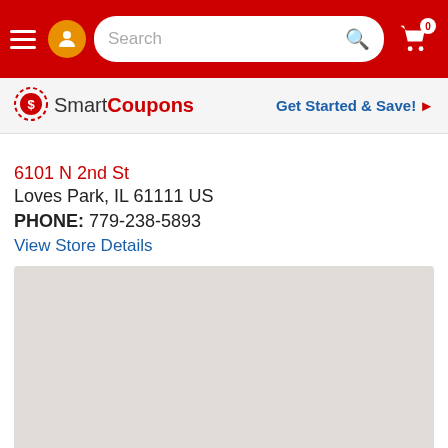Navigation bar with hamburger menu, SmartCoupons icon, search box, and cart (0)
[Figure (screenshot): SmartCoupons logo banner with 'Get Started & Save!' call to action]
6101 N 2nd St
Loves Park, IL 61111 US
PHONE: 779-238-5893
View Store Details
[Figure (map): Gray map area showing store location]